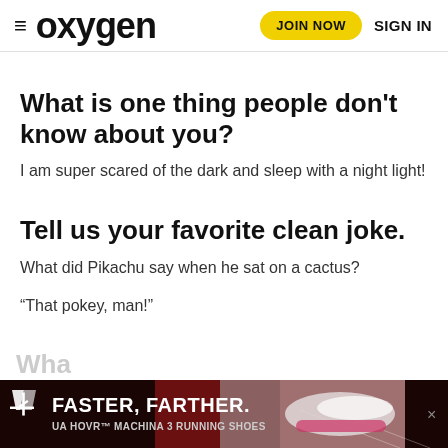≡ oxygen | JOIN NOW | SIGN IN
What is one thing people don't know about you?
I am super scared of the dark and sleep with a night light!
Tell us your favorite clean joke.
What did Pikachu say when he sat on a cactus?
“That pokey, man!”
[Figure (other): Under Armour advertisement banner: FASTER, FARTHER. UA HOVR™ MACHINA 3 RUNNING SHOES, showing a running shoe on a road background.]